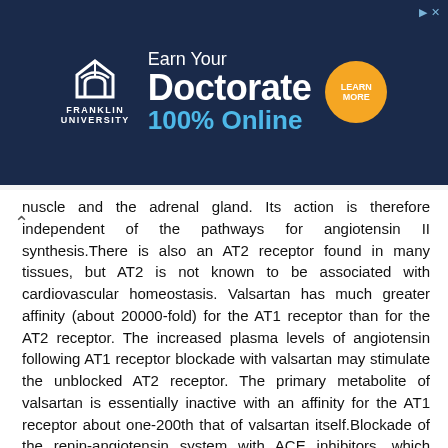[Figure (other): Franklin University advertisement banner: Earn Your Doctorate 100% Online, with Learn More button]
muscle and the adrenal gland. Its action is therefore independent of the pathways for angiotensin II synthesis.There is also an AT2 receptor found in many tissues, but AT2 is not known to be associated with cardiovascular homeostasis. Valsartan has much greater affinity (about 20000-fold) for the AT1 receptor than for the AT2 receptor. The increased plasma levels of angiotensin following AT1 receptor blockade with valsartan may stimulate the unblocked AT2 receptor. The primary metabolite of valsartan is essentially inactive with an affinity for the AT1 receptor about one-200th that of valsartan itself.Blockade of the renin-angiotensin system with ACE inhibitors, which inhibit the biosynthesis of angiotensin II from angiotensin I, is widely used in the treatment of hypertension. ACE inhibitors also inhibit the degradation of bradykinin, a reaction also catalyzed by ACE. Because valsartan does not inhibit ACE (kininase II), it does not affect the